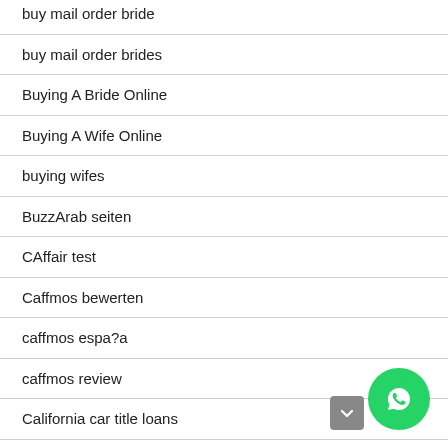buy mail order bride
buy mail order brides
Buying A Bride Online
Buying A Wife Online
buying wifes
BuzzArab seiten
CAffair test
Caffmos bewerten
caffmos espa?a
caffmos review
California car title loans
California Payday Loans Near Me
Cam4 Blonde